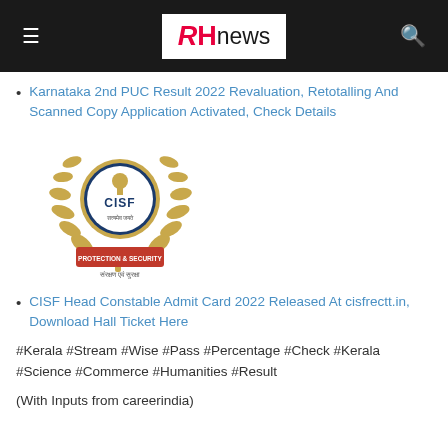RHnews
Karnataka 2nd PUC Result 2022 Revaluation, Retotalling And Scanned Copy Application Activated, Check Details
[Figure (logo): CISF (Central Industrial Security Force) logo with emblem, laurel wreath, and text 'PROTECTION & SECURITY' and 'संरक्षण एवं सुरक्षा']
CISF Head Constable Admit Card 2022 Released At cisfrectt.in, Download Hall Ticket Here
#Kerala #Stream #Wise #Pass #Percentage #Check #Kerala #Science #Commerce #Humanities #Result
(With Inputs from careerindia)